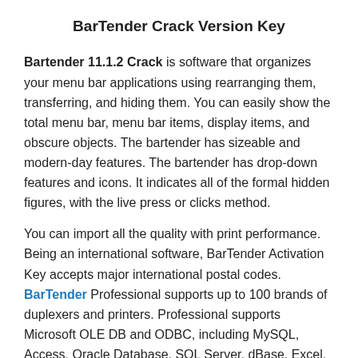BarTender Crack Version Key
Bartender 11.1.2 Crack is software that organizes your menu bar applications using rearranging them, transferring, and hiding them. You can easily show the total menu bar, menu bar items, display items, and obscure objects. The bartender has sizeable and modern-day features. The bartender has drop-down features and icons. It indicates all of the formal hidden figures, with the live press or clicks method.
You can import all the quality with print performance. Being an international software, BarTender Activation Key accepts major international postal codes. BarTender Professional supports up to 100 brands of duplexers and printers. Professional supports Microsoft OLE DB and ODBC, including MySQL, Access, Oracle Database, SQL Server, dBase, Excel, and Sybase drivers.